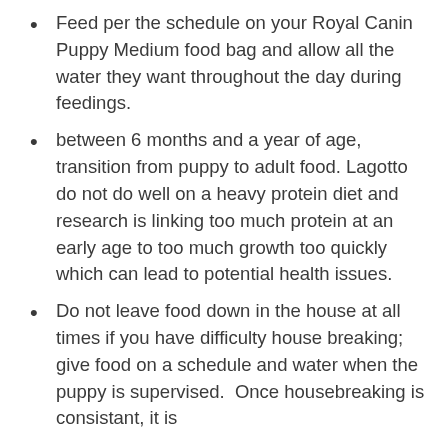Feed per the schedule on your Royal Canin Puppy Medium food bag and allow all the water they want throughout the day during feedings.
between 6 months and a year of age, transition from puppy to adult food. Lagotto do not do well on a heavy protein diet and research is linking too much protein at an early age to too much growth too quickly which can lead to potential health issues.
Do not leave food down in the house at all times if you have difficulty house breaking; give food on a schedule and water when the puppy is supervised.  Once housebreaking is consistant, it is